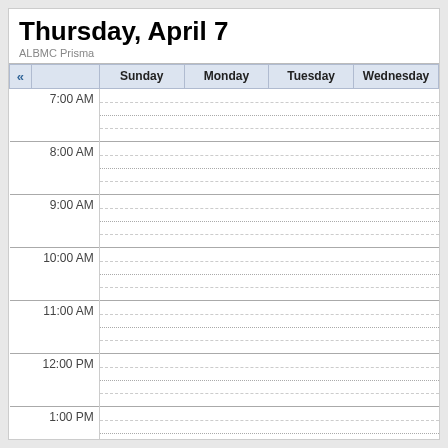Thursday, April 7
ALBMC Prisma
| « |  | Sunday | Monday | Tuesday | Wednesday |
| --- | --- | --- | --- | --- | --- |
|  | 7:00 AM |  |  |  |  |
|  | 8:00 AM |  |  |  |  |
|  | 9:00 AM |  |  |  |  |
|  | 10:00 AM |  |  |  |  |
|  | 11:00 AM |  |  |  |  |
|  | 12:00 PM |  |  |  |  |
|  | 1:00 PM |  |  |  |  |